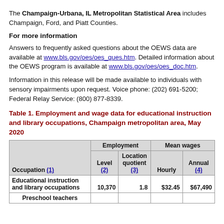The Champaign-Urbana, IL Metropolitan Statistical Area includes Champaign, Ford, and Piatt Counties.
For more information
Answers to frequently asked questions about the OEWS data are available at www.bls.gov/oes/oes_ques.htm. Detailed information about the OEWS program is available at www.bls.gov/oes/oes_doc.htm.
Information in this release will be made available to individuals with sensory impairments upon request. Voice phone: (202) 691-5200; Federal Relay Service: (800) 877-8339.
Table 1. Employment and wage data for educational instruction and library occupations, Champaign metropolitan area, May 2020
| Occupation (1) | Level (2) | Location quotient (3) | Hourly | Annual (4) |
| --- | --- | --- | --- | --- |
| Educational instruction and library occupations | 10,370 | 1.8 | $32.45 | $67,490 |
| Preschool teachers |  |  |  |  |